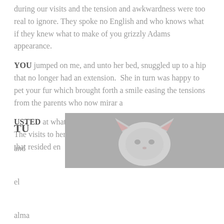during our visits and the tension and awkwardness were too real to ignore. They spoke no English and who knows what if they knew what to make of you grizzly Adams appearance.
YOU jumped on me, and unto her bed, snuggled up to a hip that no longer had an extension.  She in turn was happy to pet your fur which brought forth a smile easing the tensions from the parents who now mirar a
USTED at what I perceived to be respect and admiration. The visits to her room always brought out the best in the soul that resided en
TÚ and el alma
[Figure (photo): A cat viewed from above lying on a grey surface, showing the top of its head and ears]